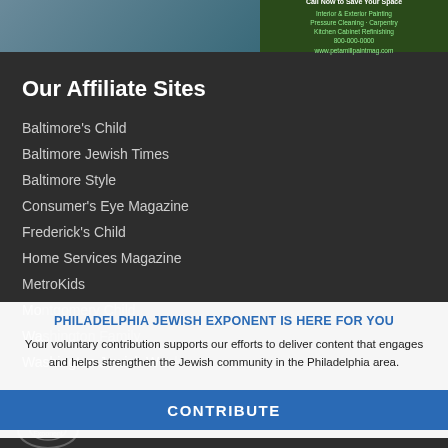[Figure (screenshot): Advertisement banner at top of page showing painting/home services ad with green call-to-action text]
Our Affiliate Sites
Baltimore's Child
Baltimore Jewish Times
Baltimore Style
Consumer's Eye Magazine
Frederick's Child
Home Services Magazine
MetroKids
Mo[truncated]
Wa[truncated]
Washington Jewish We[truncated]
PHILADELPHIA JEWISH EXPONENT IS HERE FOR YOU
Your voluntary contribution supports our efforts to deliver content that engages and helps strengthen the Jewish community in the Philadelphia area.
CONTRIBUTE
[Figure (logo): Philadelphia Exponent circular logo at bottom left]